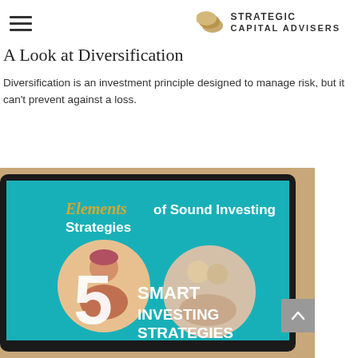Strategic Capital Advisers
A Look at Diversification
Diversification is an investment principle designed to manage risk, but it can't prevent against a loss.
[Figure (photo): A tablet displaying a presentation slide titled 'Elements of Sound Investing Strategies' with the text '5 SMART INVESTING STRATEGIES' and circular photos of people, on a teal/blue background.]